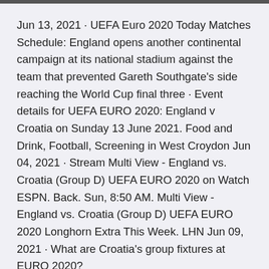Jun 13, 2021 · UEFA Euro 2020 Today Matches Schedule: England opens another continental campaign at its national stadium against the team that prevented Gareth Southgate's side reaching the World Cup final three · Event details for UEFA EURO 2020: England v Croatia on Sunday 13 June 2021. Food and Drink, Football, Screening in West Croydon Jun 04, 2021 · Stream Multi View - England vs. Croatia (Group D) UEFA EURO 2020 on Watch ESPN. Back. Sun, 8:50 AM. Multi View - England vs. Croatia (Group D) UEFA EURO 2020 Longhorn Extra This Week. LHN Jun 09, 2021 · What are Croatia's group fixtures at EURO 2020?
W W L L L. 13/06/2021 European Championship Game week 1 KO 15:00. Venue Wembley Stadium (London)